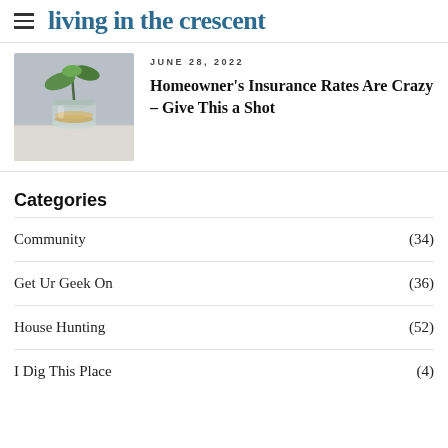living in the crescent
JUNE 28, 2022
[Figure (photo): A small plant in a glass jar filled with coins, on a marble surface against a grey wall.]
Homeowner’s Insurance Rates Are Crazy – Give This a Shot
Categories
Community (34)
Get Ur Geek On (36)
House Hunting (52)
I Dig This Place (4)